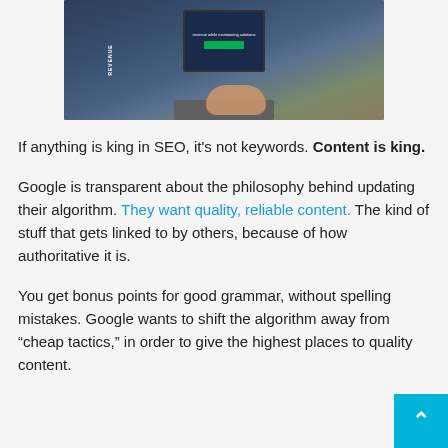[Figure (photo): Person typing on a laptop at a desk with a coffee drink, tablet, and books visible. The laptop screen shows a webpage with 'REVENUE' text and a green button.]
If anything is king in SEO, it’s not keywords. Content is king.
Google is transparent about the philosophy behind updating their algorithm. They want quality, reliable content. The kind of stuff that gets linked to by others, because of how authoritative it is.
You get bonus points for good grammar, without spelling mistakes. Google wants to shift the algorithm away from “cheap tactics,” in order to give the highest places to quality content.